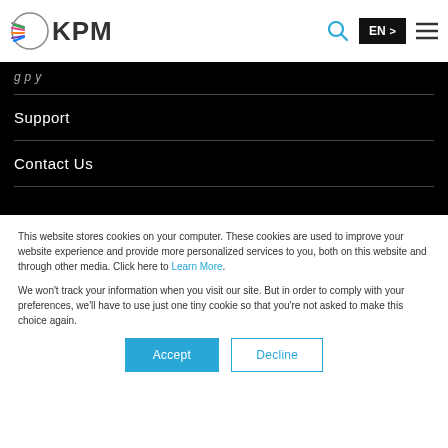[Figure (logo): KPM logo with colorful rays icon and text KPM]
EN > [search icon] [menu icon]
Support
Contact Us
This website stores cookies on your computer. These cookies are used to improve your website experience and provide more personalized services to you, both on this website and through other media. Click here to Learn More.
We won't track your information when you visit our site. But in order to comply with your preferences, we'll have to use just one tiny cookie so that you're not asked to make this choice again.
Accept  Decline